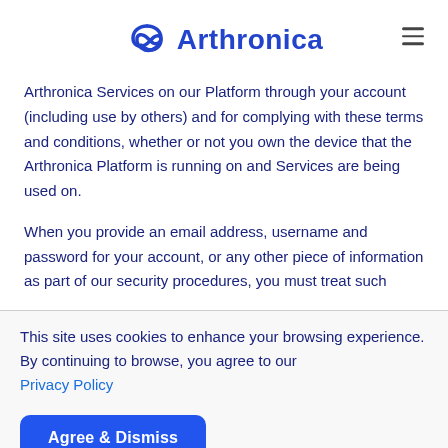[Figure (logo): Arthronica logo with blue infinity/pretzel knot icon and blue text 'Arthronica', plus hamburger menu icon on the right]
Arthronica Services on our Platform through your account (including use by others) and for complying with these terms and conditions, whether or not you own the device that the Arthronica Platform is running on and Services are being used on.
When you provide an email address, username and password for your account, or any other piece of information as part of our security procedures, you must treat such
This site uses cookies to enhance your browsing experience. By continuing to browse, you agree to our Privacy Policy
Agree & Dismiss